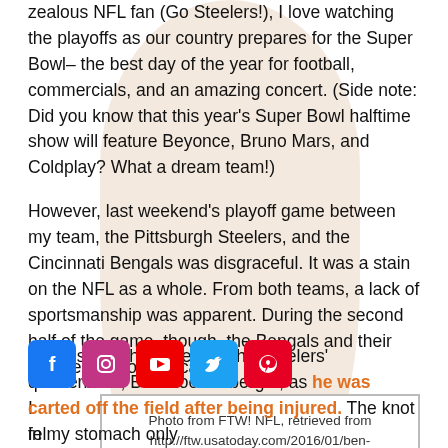zealous NFL fan (Go Steelers!), I love watching the playoffs as our country prepares for the Super Bowl– the best day of the year for football, commercials, and an amazing concert. (Side note: Did you know that this year's Super Bowl halftime show will feature Beyonce, Bruno Mars, and Coldplay? What a dream team!)
However, last weekend's playoff game between my team, the Pittsburgh Steelers, and the Cincinnati Bengals was disgraceful. It was a stain on the NFL as a whole. From both teams, a lack of sportsmanship was apparent. During the second half of the game, though, the Bengals and their fans really took the cake.
I felt sick as I w
[Figure (other): Photo placeholder box with caption: Photo from FTW! NFL, retrieved from http://ftw.usatoday.com/2016/01/ben-roethlisberger-cincinnati-fans-throw-beer-cheer-injury-carted-off-status-sack-bengals-steelers]
ed fans and throw beer at the Steelers' quarterback, Ben Roethlisberger, as he was carted off the field after being injured. The knot in my stomach only